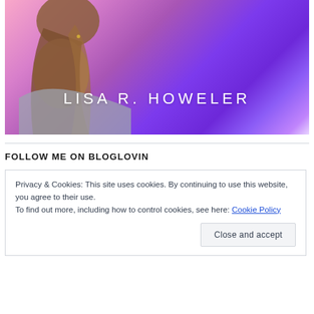[Figure (photo): Book cover image showing a young woman from behind with long brown hair, facing a purple and pink sunset sky, with author name 'LISA R. HOWELER' overlaid in white letters]
FOLLOW ME ON BLOGLOVIN
Privacy & Cookies: This site uses cookies. By continuing to use this website, you agree to their use.
To find out more, including how to control cookies, see here: Cookie Policy

Close and accept